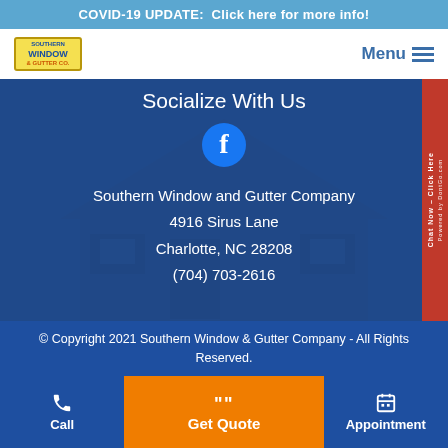COVID-19 UPDATE:  Click here for more info!
[Figure (logo): Southern Window and Gutter Company logo with yellow background]
Menu
Socialize With Us
[Figure (illustration): Facebook circular icon with white f on blue circle]
Southern Window and Gutter Company
4916 Sirus Lane
Charlotte, NC 28208
(704) 703-2616
[Figure (other): Red vertical sidebar with 'Chat Now - Click Here' text and 'Powered by DontGo.com']
© Copyright 2021 Southern Window & Gutter Company - All Rights Reserved.
Call
Get Quote
Appointment